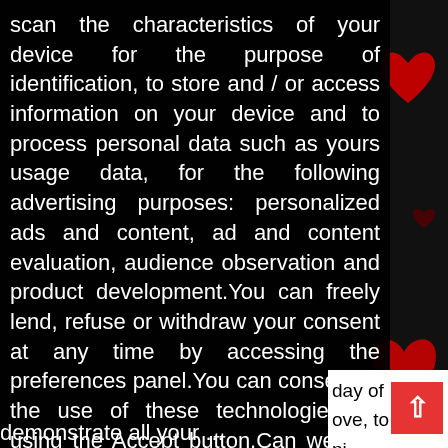scan the characteristics of your device for the purpose of identification, to store and / or access information on your device and to process personal data such as yours usage data, for the following advertising purposes: personalized ads and content, ad and content evaluation, audience observation and product development.You can freely lend, refuse or withdraw your consent at any time by accessing the preferences panel.You can consent to the use of these technologies by using the Accept button.Can we use your data to serve you personalized ads?
Read more about your privacy HERE
day of ove, to ni
Decline
Got it !
demonstrate all your ...